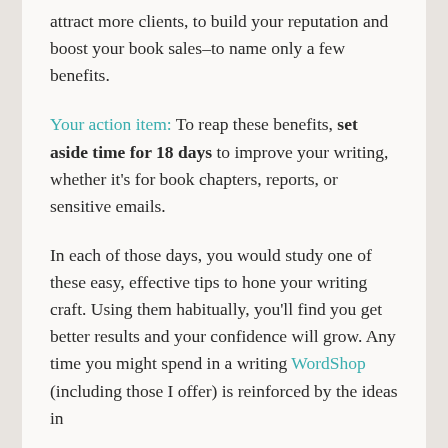attract more clients, to build your reputation and boost your book sales–to name only a few benefits.
Your action item: To reap these benefits, set aside time for 18 days to improve your writing, whether it's for book chapters, reports, or sensitive emails.
In each of those days, you would study one of these easy, effective tips to hone your writing craft. Using them habitually, you'll find you get better results and your confidence will grow. Any time you might spend in a writing WordShop (including those I offer) is reinforced by the ideas in